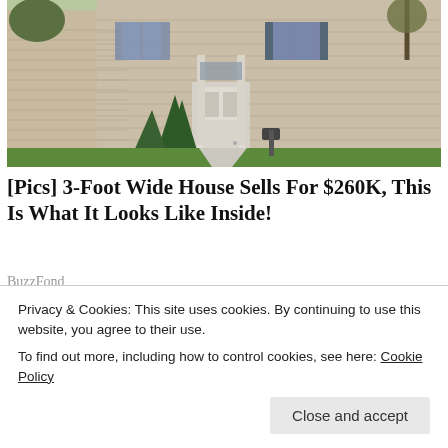[Figure (photo): Exterior photo of a two-story house with tan vinyl siding, white front door, evergreen shrubs, and a green lawn]
[Pics] 3-Foot Wide House Sells For $260K, This Is What It Looks Like Inside!
BuzzFond
Share this:
Privacy & Cookies: This site uses cookies. By continuing to use this website, you agree to their use. To find out more, including how to control cookies, see here: Cookie Policy
Close and accept